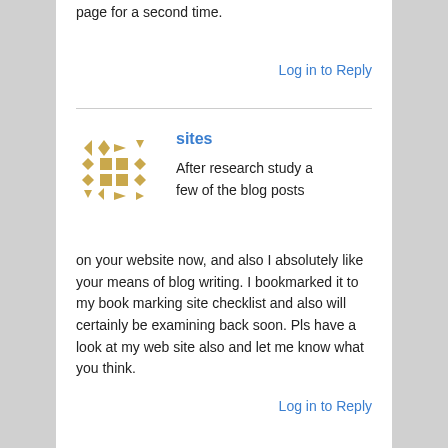page for a second time.
Log in to Reply
sites
After research study a few of the blog posts on your website now, and also I absolutely like your means of blog writing. I bookmarked it to my book marking site checklist and also will certainly be examining back soon. Pls have a look at my web site also and let me know what you think.
Log in to Reply